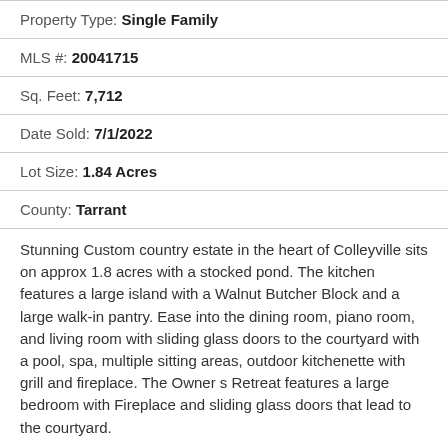Property Type: Single Family
MLS #: 20041715
Sq. Feet: 7,712
Date Sold: 7/1/2022
Lot Size: 1.84 Acres
County: Tarrant
Stunning Custom country estate in the heart of Colleyville sits on approx 1.8 acres with a stocked pond. The kitchen features a large island with a Walnut Butcher Block and a large walk-in pantry. Ease into the dining room, piano room, and living room with sliding glass doors to the courtyard with a pool, spa, multiple sitting areas, outdoor kitchenette with grill and fireplace. The Owner s Retreat features a large bedroom with Fireplace and sliding glass doors that lead to the courtyard.